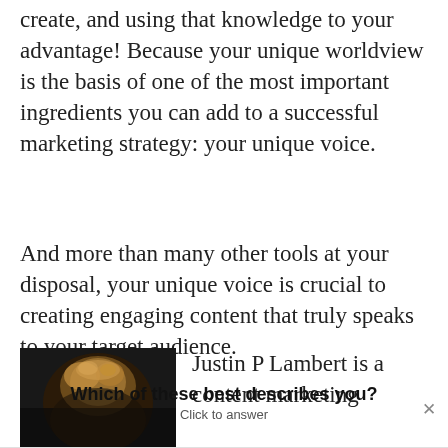create, and using that knowledge to your advantage! Because your unique worldview is the basis of one of the most important ingredients you can add to a successful marketing strategy: your unique voice.
And more than many other tools at your disposal, your unique voice is crucial to creating engaging content that truly speaks to your target audience.
[Figure (photo): Headshot photo of Justin P Lambert, showing top of head with curly hair against dark background]
Justin P Lambert is a content marketing
Which of these best describes you?
Click to answer